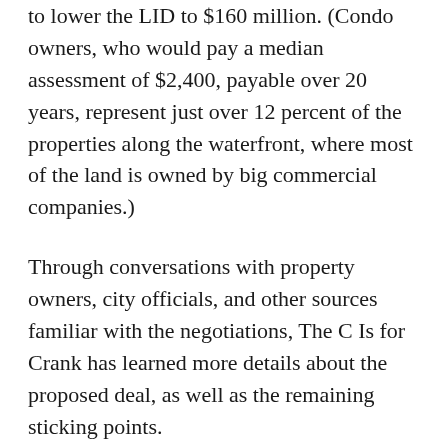to lower the LID to $160 million. (Condo owners, who would pay a median assessment of $2,400, payable over 20 years, represent just over 12 percent of the properties along the waterfront, where most of the land is owned by big commercial companies.)
Through conversations with property owners, city officials, and other sources familiar with the negotiations, The C Is for Crank has learned more details about the proposed deal, as well as the remaining sticking points.
The proposed total assessment of $160 million would be supplemented by additional contributions from the city of Seattle and the Friends of the Waterfront, a private nonprofit established in 2012 and known for its key role in planning the redevelopment.